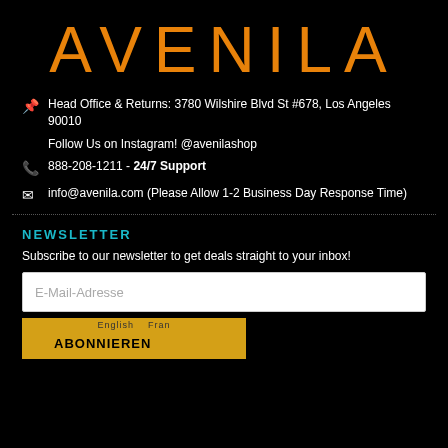AVENILA
📌 Head Office & Returns: 3780 Wilshire Blvd St #678, Los Angeles 90010
Follow Us on Instagram! @avenilashop
📞 888-208-1211 - 24/7 Support
✉ info@avenila.com (Please Allow 1-2 Business Day Response Time)
NEWSLETTER
Subscribe to our newsletter to get deals straight to your inbox!
E-Mail-Adresse
ABONNIEREN